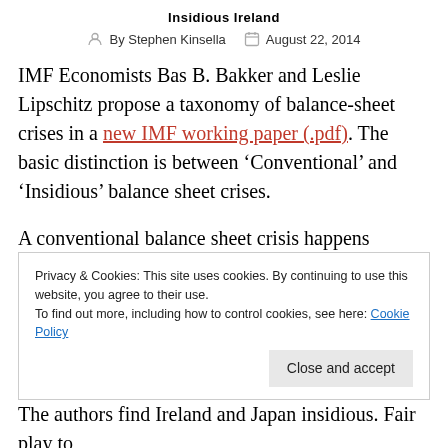Insidious Ireland
By Stephen Kinsella   August 22, 2014
IMF Economists Bas B. Bakker and Leslie Lipschitz propose a taxonomy of balance-sheet crises in a new IMF working paper (.pdf). The basic distinction is between ‘Conventional’ and ‘Insidious’ balance sheet crises.
A conventional balance sheet crisis happens because of external imbalances, typically large gross flows into or out of the country, causing balance sheet vulnerabilities
Privacy & Cookies: This site uses cookies. By continuing to use this website, you agree to their use.
To find out more, including how to control cookies, see here: Cookie Policy
The authors find Ireland and Japan insidious. Fair play to